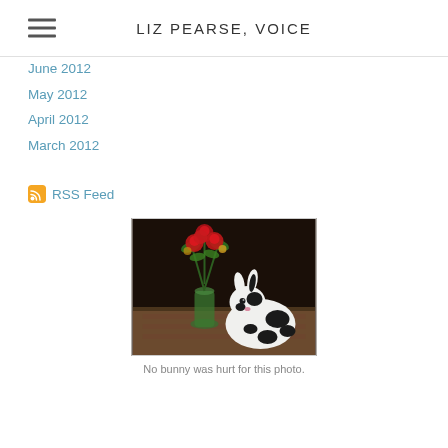LIZ PEARSE, VOICE
June 2012
May 2012
April 2012
March 2012
RSS Feed
[Figure (photo): A black and white bunny sitting next to a vase of red roses and green foliage on a patterned surface]
No bunny was hurt for this photo.